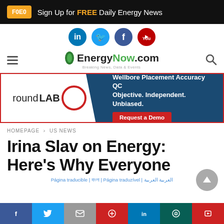F0E0 | Sign Up for FREE Daily Energy News
[Figure (logo): Social media icons: LinkedIn, Twitter, Facebook, YouTube]
[Figure (logo): EnergyNow.com logo with tagline 'Breaking News, Data & Events']
[Figure (infographic): roundLAB advertisement banner: Wellbore Placement Accuracy QC. Objective. Independent. Unbiased. Request a Demo]
HOMEPAGE > US NEWS
Irina Slav on Energy: Here's Why Everyone
Página traducible | বাংলা | Página traduzível | العربية العربية
Social share bar: Facebook, Twitter, Email, Pinterest, LinkedIn, WhatsApp, Flipboard